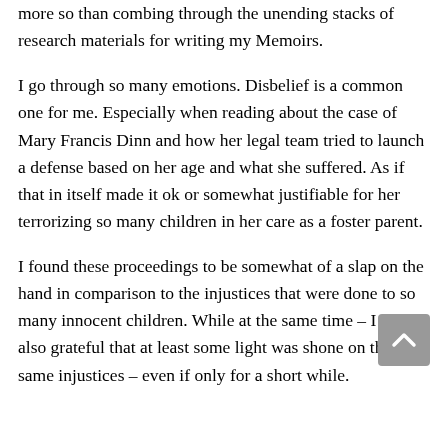more so than combing through the unending stacks of research materials for writing my Memoirs.
I go through so many emotions. Disbelief is a common one for me. Especially when reading about the case of Mary Francis Dinn and how her legal team tried to launch a defense based on her age and what she suffered. As if that in itself made it ok or somewhat justifiable for her terrorizing so many children in her care as a foster parent.
I found these proceedings to be somewhat of a slap on the hand in comparison to the injustices that were done to so many innocent children. While at the same time – I was also grateful that at least some light was shone on these same injustices – even if only for a short while.